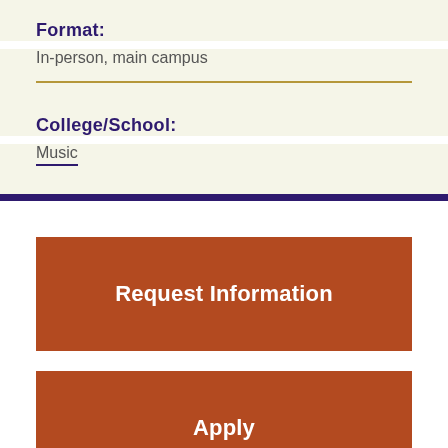Format:
In-person, main campus
College/School:
Music
Request Information
Apply